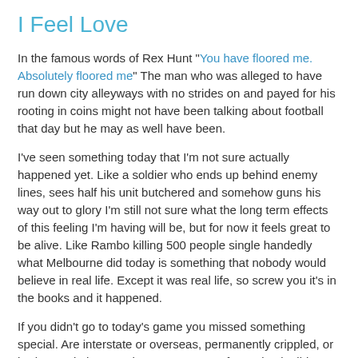I Feel Love
In the famous words of Rex Hunt "You have floored me. Absolutely floored me" The man who was alleged to have run down city alleyways with no strides on and payed for his rooting in coins might not have been talking about football that day but he may as well have been.
I've seen something today that I'm not sure actually happened yet. Like a soldier who ends up behind enemy lines, sees half his unit butchered and somehow guns his way out to glory I'm still not sure what the long term effects of this feeling I'm having will be, but for now it feels great to be alive. Like Rambo killing 500 people single handedly what Melbourne did today is something that nobody would believe in real life. Except it was real life, so screw you it's in the books and it happened.
If you didn't go to today's game you missed something special. Are interstate or overseas, permanently crippled, or had to work then you have an excuse. If you simply didn't show up because you didn't expect us to win then give